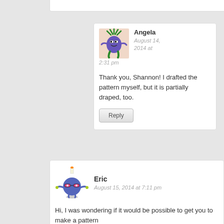[Figure (screenshot): Comment section of a blog post showing two user comments: Angela (August 14, 2014 at 2:31 pm) and Eric (August 15, 2014 at 7:11 pm)]
Angela
August 14, 2014 at 2:31 pm
Thank you, Shannon! I drafted the pattern myself, but it is partially draped, too.
Reply
Eric
August 15, 2014 at 7:11 pm
Hi, I was wondering if it would be possible to get you to make a pattern